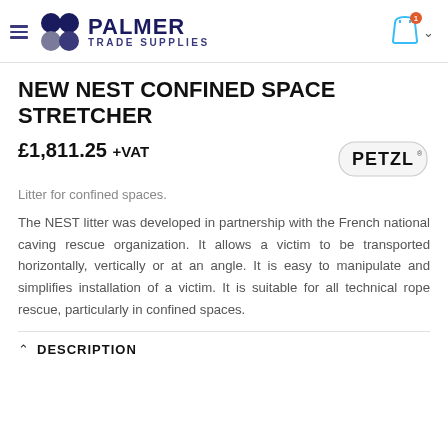PALMER TRADE SUPPLIES
NEW NEST CONFINED SPACE STRETCHER
£1,811.25 +VAT
[Figure (logo): Petzl brand logo]
Litter for confined spaces.
The NEST litter was developed in partnership with the French national caving rescue organization. It allows a victim to be transported horizontally, vertically or at an angle. It is easy to manipulate and simplifies installation of a victim. It is suitable for all technical rope rescue, particularly in confined spaces.
DESCRIPTION